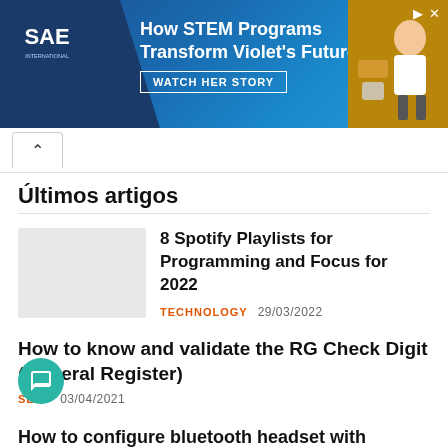[Figure (screenshot): SAE advertisement banner: blue gradient background with SAE logo, text 'How STEM Programs Transform Violet's Future', WATCH HER STORY button, and a photo of a child on the right]
Últimos artigos
8 Spotify Playlists for Programming and Focus for 2022
TECHNOLOGY   29/03/2022
How to know and validate the RG Check Digit (General Register)
SELF   03/04/2021
How to configure bluetooth headset with microphone in Ubuntu, Mint (Debian)